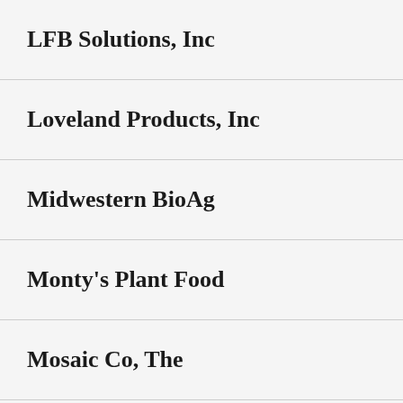LFB Solutions, Inc
Loveland Products, Inc
Midwestern BioAg
Monty's Plant Food
Mosaic Co, The